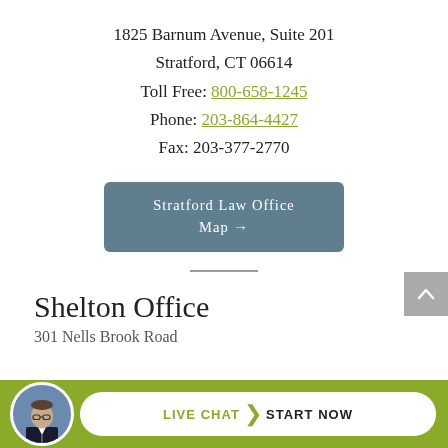1825 Barnum Avenue, Suite 201
Stratford, CT 06614
Toll Free: 800-658-1245
Phone: 203-864-4427
Fax: 203-377-2770
Stratford Law Office Map →
Shelton Office
[Figure (other): Live chat footer bar with avatar photo of a man in suit, and a button reading LIVE CHAT | START NOW on olive/green background]